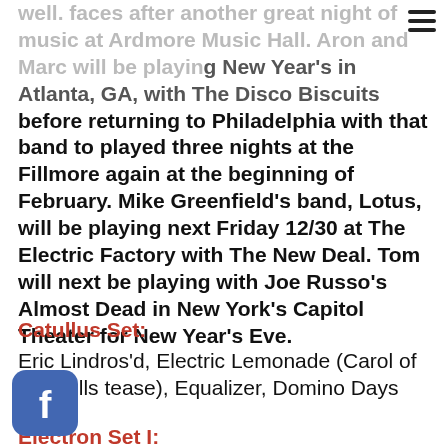well. Faces after another great night of music at Ardmore Music Hall. Aron and Marc will be playing New Year's in Atlanta, GA, with The Disco Biscuits before returning to Philadelphia with that band to played three nights at the Fillmore again at the beginning of February. Mike Greenfield's band, Lotus, will be playing next Friday 12/30 at The Electric Factory with The New Deal. Tom will next be playing with Joe Russo's Almost Dead in New York's Capitol Theater for New Year's Eve.
Catullus Set:
Eric Lindros'd, Electric Lemonade (Carol of the Bells tease), Equalizer, Domino Days
Electron Set I:
Little Lai, Home Again, Grass is Green > 3 Wishes > One tease > Grass is Green, In the Halls of the Mountain King (and some Christmas tunes)* > Slipknot > Cream...